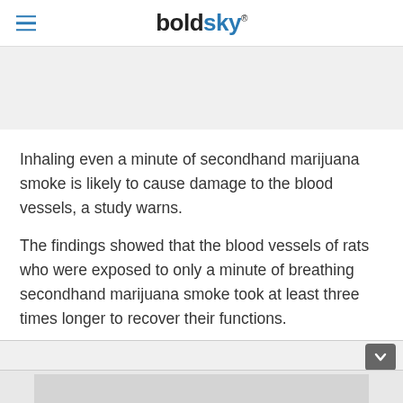boldsky
Inhaling even a minute of secondhand marijuana smoke is likely to cause damage to the blood vessels, a study warns.
The findings showed that the blood vessels of rats who were exposed to only a minute of breathing secondhand marijuana smoke took at least three times longer to recover their functions.